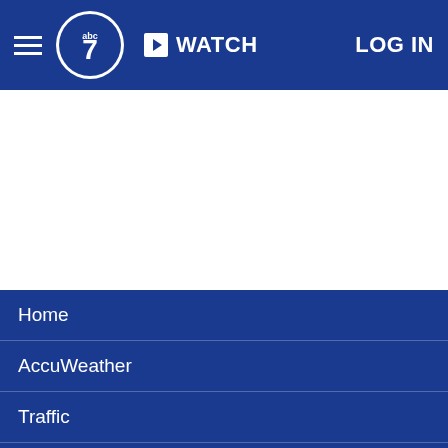ABC7 navigation bar with hamburger menu, logo, WATCH button, and LOG IN
[Figure (screenshot): White content/ad area below navigation bar]
Home
AccuWeather
Traffic
Local News
Categories
Station Info